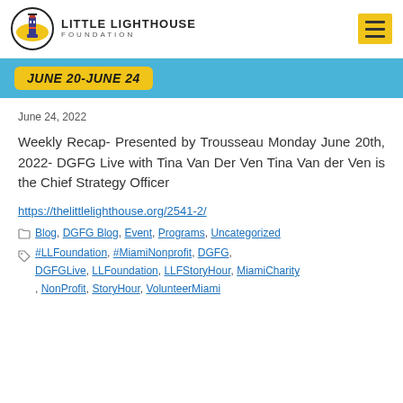LITTLE LIGHTHOUSE FOUNDATION
[Figure (illustration): Little Lighthouse Foundation logo with lighthouse in circle, organization name, and yellow hamburger menu button]
[Figure (illustration): Blue banner strip with yellow pill badge reading JUNE 20-JUNE 24]
June 24, 2022
Weekly Recap- Presented by Trousseau Monday June 20th, 2022- DGFG Live with Tina Van Der Ven Tina Van der Ven is the Chief Strategy Officer
https://thelittlelighthouse.org/2541-2/
Blog, DGFG Blog, Event, Programs, Uncategorized
#LLFoundation, #MiamiNonprofit, DGFG, DGFGLive, LLFoundation, LLFStoryHour, MiamiCharity, NonProfit, StoryHour, VolunteerMiami